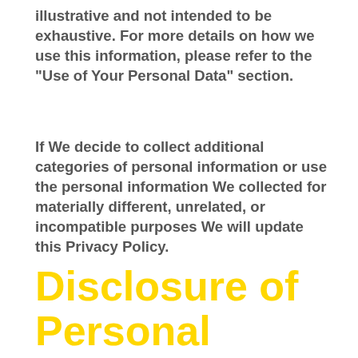illustrative and not intended to be exhaustive. For more details on how we use this information, please refer to the "Use of Your Personal Data" section.
If We decide to collect additional categories of personal information or use the personal information We collected for materially different, unrelated, or incompatible purposes We will update this Privacy Policy.
Disclosure of Personal Information for Business Purposes or Commercial Purp...